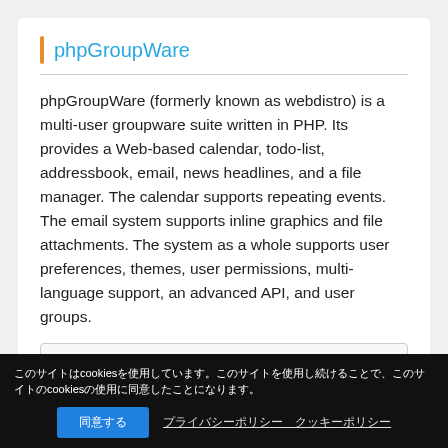phpGroupWare
phpGroupWare (formerly known as webdistro) is a multi-user groupware suite written in PHP. Its provides a Web-based calendar, todo-list, addressbook, email, news headlines, and a file manager. The calendar supports repeating events. The email system supports inline graphics and file attachments. The system as a whole supports user preferences, themes, user permissions, multi-language support, an advanced API, and user groups.
Detail info
[Figure (other): Rating widget showing score 0.0 with star icons]
このサイトはcookiesを使用しています。このサイトを使用し続けることで、cookiesの使用に同意したことになります。
同意する　プライバシーポリシー クッキーポリシー